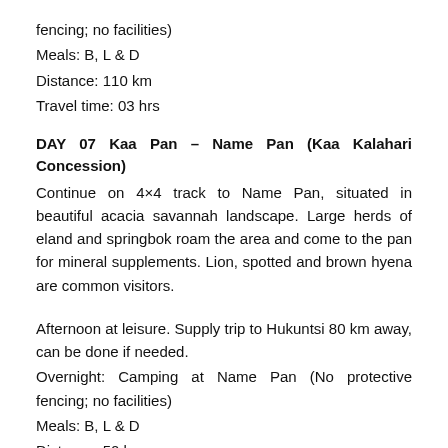fencing; no facilities)
Meals: B, L & D
Distance: 110 km
Travel time: 03 hrs
DAY 07 Kaa Pan – Name Pan (Kaa Kalahari Concession)
Continue on 4×4 track to Name Pan, situated in beautiful acacia savannah landscape. Large herds of eland and springbok roam the area and come to the pan for mineral supplements. Lion, spotted and brown hyena are common visitors.
Afternoon at leisure. Supply trip to Hukuntsi 80 km away, can be done if needed.
Overnight: Camping at Name Pan (No protective fencing; no facilities)
Meals: B, L & D
Distance: 50 km
Travel time: 02 hrs